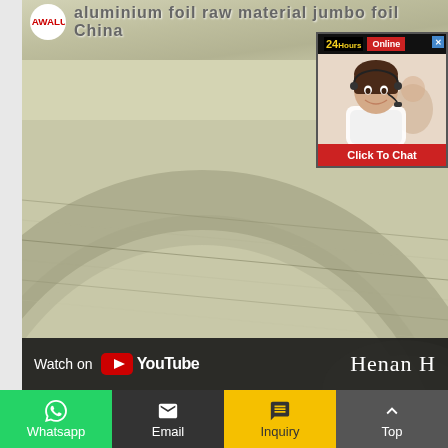[Figure (screenshot): Screenshot of a website showing an aluminum foil jumbo roll product page. Features the AWALO logo (red text in white circle), header text 'aluminium foil raw material jumbo foil China', a live chat popup overlay with '24Hours Online' label, a customer service representative photo, and 'Click To Chat' button. The main background shows a close-up of brushed metallic aluminum foil roll. A YouTube 'Watch on YouTube' bar appears at the bottom of the video area, with 'Henan H' text visible on the right side.]
Watch on YouTube
Henan H
Whatsapp
Email
Inquiry
Top